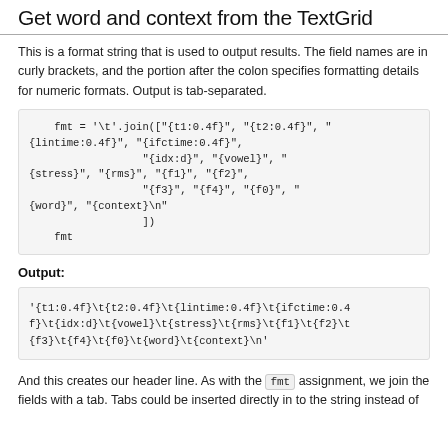Get word and context from the TextGrid
This is a format string that is used to output results. The field names are in curly brackets, and the portion after the colon specifies formatting details for numeric formats. Output is tab-separated.
fmt = '\t'.join(["{t1:0.4f}", "{t2:0.4f}", "{lintime:0.4f}", "{ifctime:0.4f}",
                      "{idx:d}", "{vowel}", "{stress}", "{rms}", "{f1}", "{f2}",
                      "{f3}", "{f4}", "{f0}", "{word}", "{context}\n"
                      ])
    fmt
Output:
'{t1:0.4f}\t{t2:0.4f}\t{lintime:0.4f}\t{ifctime:0.4f}\t{idx:d}\t{vowel}\t{stress}\t{rms}\t{f1}\t{f2}\t{f3}\t{f4}\t{f0}\t{word}\t{context}\n'
And this creates our header line. As with the fmt assignment, we join the fields with a tab. Tabs could be inserted directly in to the string instead of using join()...